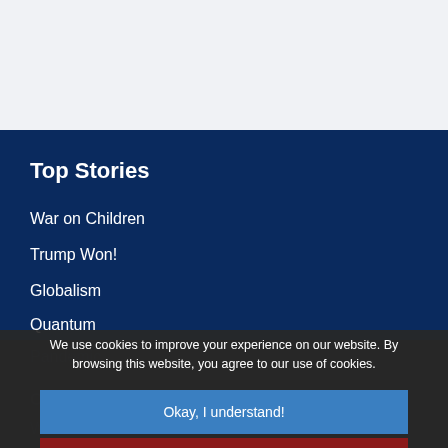Top Stories
War on Children
Trump Won!
Globalism
Quantum
Pandemic
Creators
W...
Spiritual Life
The Quantum Sword
Culture
We use cookies to improve your experience on our website. By browsing this website, you agree to our use of cookies.
Okay, I understand!
Decline
More Info